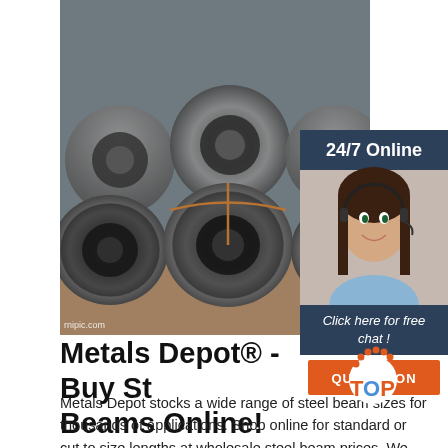[Figure (photo): Stacked steel wire rod coils/rolls, industrial product photograph]
[Figure (photo): Customer service agent woman smiling with headset, 24/7 Online sidebar with chat and quotation button]
Metals Depot® - Buy Steel Beams Online!
Metals Depot stocks a wide range of steel beam sizes for thousands of applications. Shop online for standard or cut to size lengths at wholesale steel beam prices. We also offer a selection of Galvanized Steel Beams. Just give us a call if you need something special. Note: Steel Beams may...